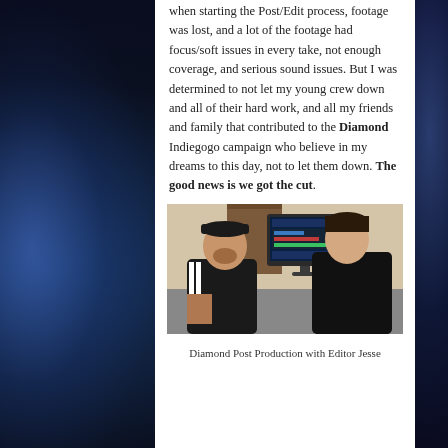when starting the Post/Edit process, footage was lost, and a lot of the footage had focus/soft issues in every take, not enough coverage, and serious sound issues. But I was determined to not let my young crew down and all of their hard work, and all my friends and family that contributed to the Diamond Indiegogo campaign who believe in my dreams to this day, not to let them down. The good news is we got the cut.
[Figure (photo): Two men seated in front of a computer monitor showing editing software. The man on the left wears a black cap and black jacket with white stripes and has visible tattoos. The man on the right wears all black. This appears to be a post-production editing session.]
Diamond Post Production with Editor Jesse